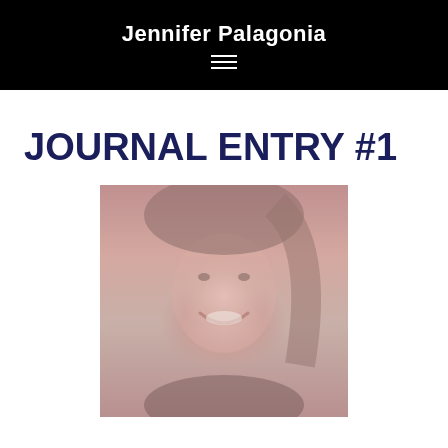Jennifer Palagonia
JOURNAL ENTRY #1
[Figure (photo): A woman with shoulder-length blonde hair smiling, rendered in sepia/duotone pink-red tones. She appears to be indoors.]